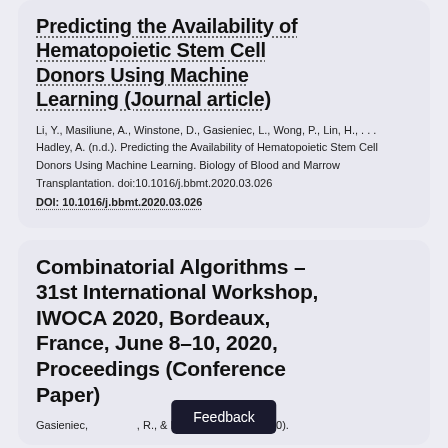Predicting the Availability of Hematopoietic Stem Cell Donors Using Machine Learning (Journal article)
Li, Y., Masiliune, A., Winstone, D., Gasieniec, L., Wong, P., Lin, H., . . . Hadley, A. (n.d.). Predicting the Availability of Hematopoietic Stem Cell Donors Using Machine Learning. Biology of Blood and Marrow Transplantation. doi:10.1016/j.bbmt.2020.03.026 DOI: 10.1016/j.bbmt.2020.03.026
Combinatorial Algorithms – 31st International Workshop, IWOCA 2020, Bordeaux, France, June 8–10, 2020, Proceedings (Conference Paper)
Gasieniec, ..., R., & Radzik, T. (Eds.) (2020).